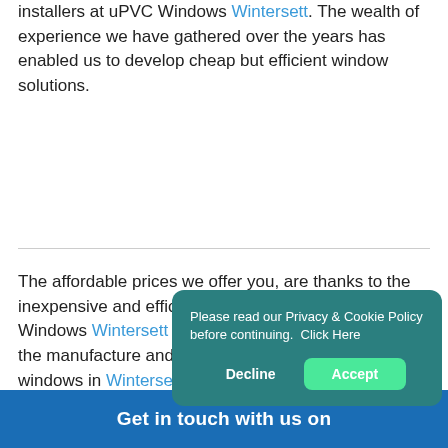installers at uPVC Windows Wintersett. The wealth of experience we have gathered over the years has enabled us to develop cheap but efficient window solutions.
The affordable prices we offer you, are thanks to the inexpensive and efficient answer we develop. uPVC Windows Wintersett believe the equipment we use in the manufacture and installation of cheap uPVC windows in Wintersett is among the best in the industry. uPVC Windows Wintersett policy is about putting the clients first and our aim has always been to provide these clients with p... them well at prices...
[Figure (other): Cookie consent popup with teal background. Text reads: 'Please read our Privacy & Cookie Policy before continuing. Click Here'. Two buttons: 'Decline' (text only) and 'Accept' (green rounded button).]
Get in touch with us on